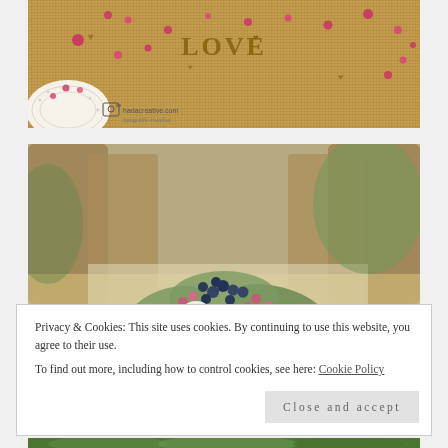[Figure (photo): Close-up photo of burlap fabric with wooden LOVE letters, pink beaded garland, small wooden hearts, and a white lace doily in the bottom left corner. A watermark reading 'hadacreative.com' with a camera icon is visible.]
[Figure (photo): Photo of a wedding table setting with wicker chairs in the background and a floral centerpiece arrangement featuring white roses, blue berries, pink berries, and green foliage in the foreground.]
Privacy & Cookies: This site uses cookies. By continuing to use this website, you agree to their use.
To find out more, including how to control cookies, see here: Cookie Policy
Close and accept
[Figure (photo): Partial photo at bottom of page showing green foliage/garden scene.]